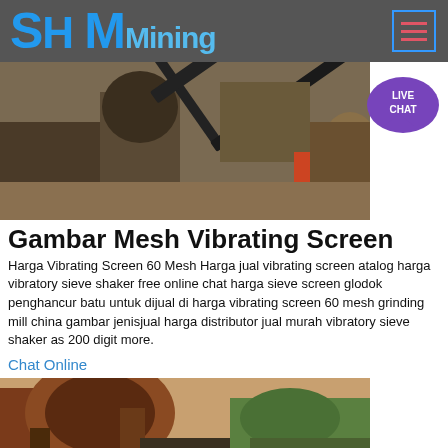SH MMining
[Figure (photo): Outdoor mining site with conveyor belt machinery and industrial equipment, worker in red suit visible in background]
Gambar Mesh Vibrating Screen
Harga Vibrating Screen 60 Mesh Harga jual vibrating screen atalog harga vibratory sieve shaker free online chat harga sieve screen glodok penghancur batu untuk dijual di harga vibrating screen 60 mesh grinding mill china gambar jenisjual harga distributor jual murah vibratory sieve shaker as 200 digit more.
Chat Online
[Figure (photo): Close-up of large industrial mining crushing machine with mountains in background]